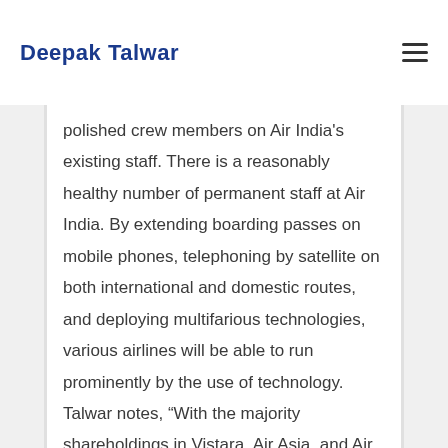Deepak Talwar
polished crew members on Air India's existing staff. There is a reasonably healthy number of permanent staff at Air India. By extending boarding passes on mobile phones, telephoning by satellite on both international and domestic routes, and deploying multifarious technologies, various airlines will be able to run prominently by the use of technology. Talwar notes, “With the majority shareholdings in Vistara, Air Asia, and Air India now under Tata Group, the group will enjoy a 35 percent